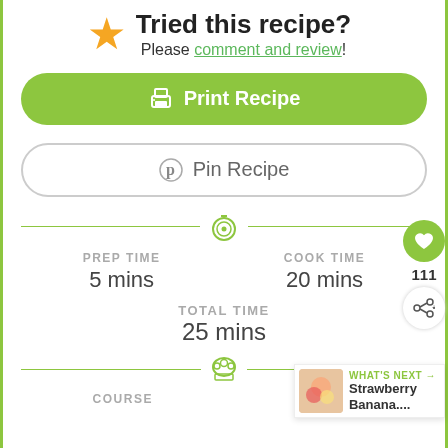Tried this recipe?
Please comment and review!
Print Recipe
Pin Recipe
PREP TIME 5 mins
COOK TIME 20 mins
TOTAL TIME 25 mins
COURSE
CUISINE
111
WHAT'S NEXT Strawberry Banana....